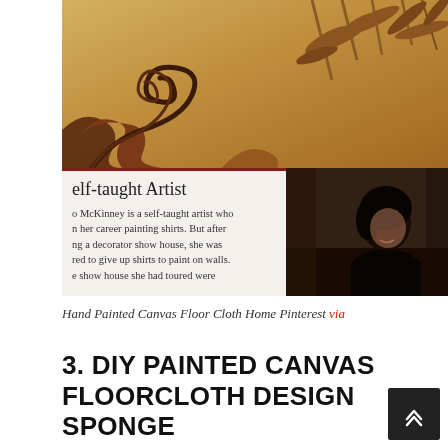[Figure (photo): A composite photo showing a hand-painted canvas floor cloth with decorative scroll and bamboo motifs on a gold/tan background at top, and a magazine article snippet visible at the bottom left with a person photo at the bottom right.]
Hand Painted Canvas Floor Cloth Home Pinterest via
3. DIY PAINTED CANVAS FLOORCLOTH DESIGN SPONGE